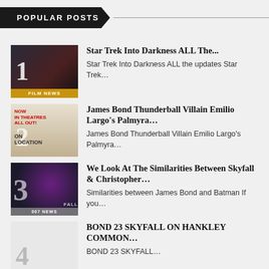POPULAR POSTS
Star Trek Into Darkness ALL The...
Star Trek Into Darkness ALL the updates Star Trek...
James Bond Thunderball Villain Emilio Largo's Palmyra...
James Bond Thunderball Villain Emilio Largo's Palmyra...
We Look At The Similarities Between Skyfall & Christopher...
Similarities between James Bond and Batman If you...
BOND 23 SKYFALL ON HANKLEY COMMON...
BOND 23 SKYFALL...